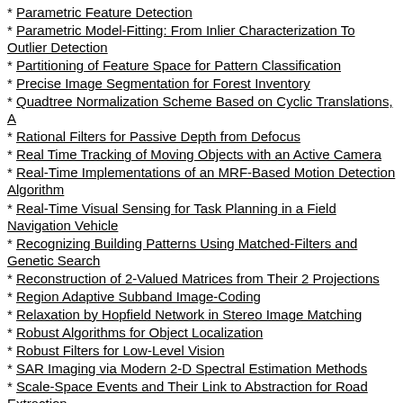Parametric Feature Detection
Parametric Model-Fitting: From Inlier Characterization To Outlier Detection
Partitioning of Feature Space for Pattern Classification
Precise Image Segmentation for Forest Inventory
Quadtree Normalization Scheme Based on Cyclic Translations, A
Rational Filters for Passive Depth from Defocus
Real Time Tracking of Moving Objects with an Active Camera
Real-Time Implementations of an MRF-Based Motion Detection Algorithm
Real-Time Visual Sensing for Task Planning in a Field Navigation Vehicle
Recognizing Building Patterns Using Matched-Filters and Genetic Search
Reconstruction of 2-Valued Matrices from Their 2 Projections
Region Adaptive Subband Image-Coding
Relaxation by Hopfield Network in Stereo Image Matching
Robust Algorithms for Object Localization
Robust Filters for Low-Level Vision
SAR Imaging via Modern 2-D Spectral Estimation Methods
Scale-Space Events and Their Link to Abstraction for Road Extraction